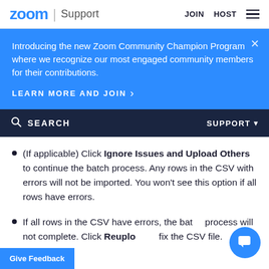zoom | Support   JOIN   HOST
Introducing the new Zoom Community Champion Program where we recognize our most engaged community members for their contributions.
LEARN MORE AND JOIN >
SEARCH   SUPPORT
(If applicable) Click Ignore Issues and Upload Others to continue the batch process. Any rows in the CSV with errors will not be imported. You won't see this option if all rows have errors.
If all rows in the CSV have errors, the batch process will not complete. Click Reupload to fix the CSV file.